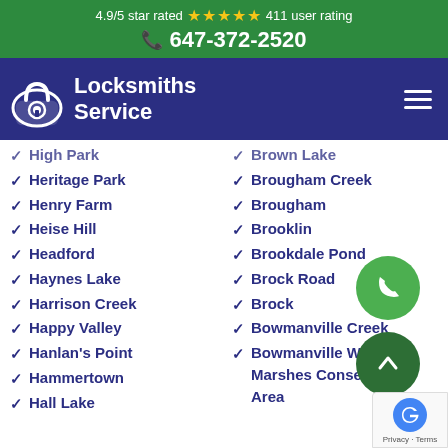4.9/5 star rated ★★★★★ 411 user rating
647-372-2520
[Figure (logo): Locksmiths Service logo with padlock icon and white text on navy background]
High Park
Brown Lake
Heritage Park
Brougham Creek
Henry Farm
Brougham
Heise Hill
Brooklin
Headford
Brookdale Pond
Haynes Lake
Brock Road
Harrison Creek
Brock
Happy Valley
Bowmanville Creek
Hanlan's Point
Bowmanville Westside Marshes Conservation Area
Hammertown
Hall Lake